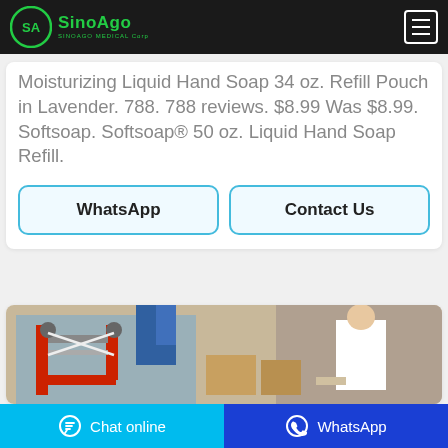SinoAgo Medical Corp
Moisturizing Liquid Hand Soap 34 oz. Refill Pouch in Lavender. 788. 788 reviews. $8.99 Was $8.99. Softsoap. Softsoap® 50 oz. Liquid Hand Soap Refill.
[Figure (screenshot): WhatsApp button]
[Figure (screenshot): Contact Us button]
[Figure (photo): Factory/manufacturing scene with red machinery and worker in white coat]
Chat online   WhatsApp